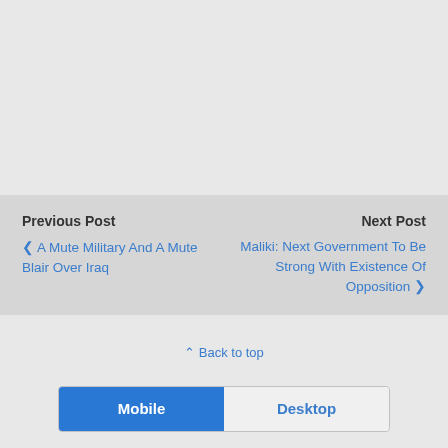Previous Post
‹ A Mute Military And A Mute Blair Over Iraq
Next Post
Maliki: Next Government To Be Strong With Existence Of Opposition ›
⌃ Back to top
Mobile
Desktop